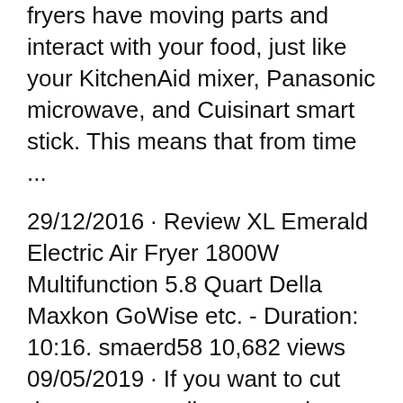fryers have moving parts and interact with your food, just like your KitchenAid mixer, Panasonic microwave, and Cuisinart smart stick. This means that from time ...
29/12/2016 · Review XL Emerald Electric Air Fryer 1800W Multifunction 5.8 Quart Della Maxkon GoWise etc. - Duration: 10:16. smaerd58 10,682 views 09/05/2019 · If you want to cut down on your oil consumption and do your bit for household efficiency, this 1800w turbo oven air fryer from Maxkon can help. Using 80% less cooking oil than traditional fryers, this unit allows you to cook a variety of very tasty recipes. The appliance has a 7-litre capacity.